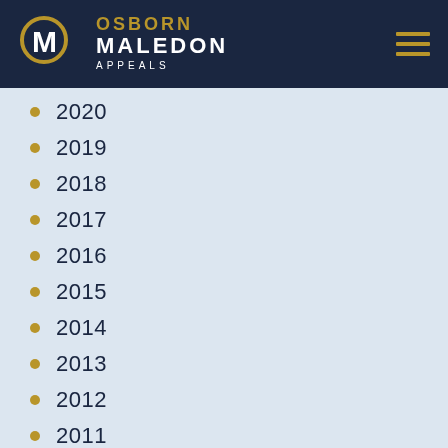Osborn Maledon Appeals
2020
2019
2018
2017
2016
2015
2014
2013
2012
2011